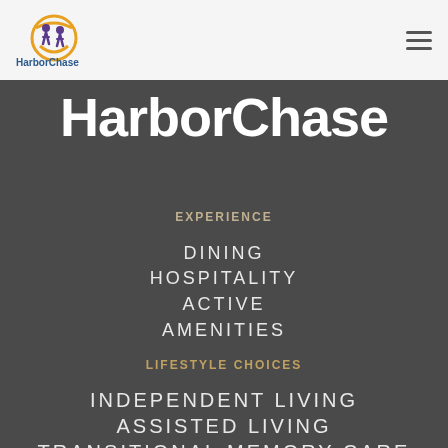HarborChase
HarborChase
EXPERIENCE
DINING
HOSPITALITY
ACTIVE
AMENITIES
LIFESTYLE CHOICES
INDEPENDENT LIVING
ASSISTED LIVING
TRANSITIONAL MEMORY CARE